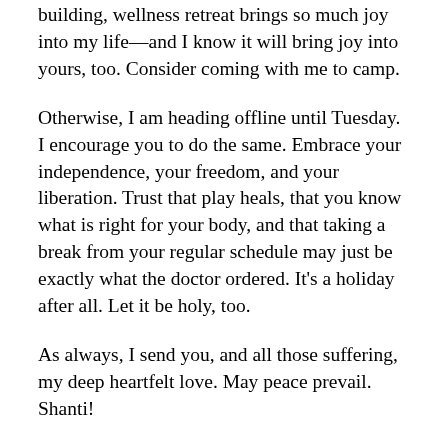building, wellness retreat brings so much joy into my life—and I know it will bring joy into yours, too. Consider coming with me to camp.
Otherwise, I am heading offline until Tuesday. I encourage you to do the same. Embrace your independence, your freedom, and your liberation. Trust that play heals, that you know what is right for your body, and that taking a break from your regular schedule may just be exactly what the doctor ordered. It's a holiday after all. Let it be holy, too.
As always, I send you, and all those suffering, my deep heartfelt love. May peace prevail. Shanti!
Big hugs,
Jenn
P.S. My beloved mentor...Divine Living...